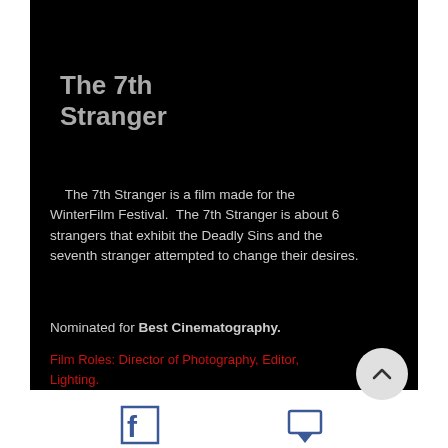The 7th Stranger
The 7th Stranger is a film made for the WinterFilm Festival.  The 7th Stranger is about 6 strangers that exhibit the Deadly Sins and the seventh stranger attempted to change their desires.
Nominated for Best Cinematography.
Film Roles: Director of Photography, Editor, Lighting.
[Figure (other): Facebook icon - social media link]
[Figure (other): Chat/message icon - social media link]